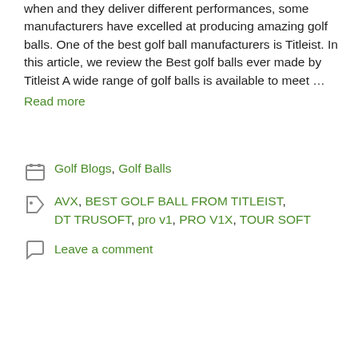when and they deliver different performances, some manufacturers have excelled at producing amazing golf balls. One of the best golf ball manufacturers is Titleist. In this article, we review the Best golf balls ever made by Titleist A wide range of golf balls is available to meet …
Read more
Golf Blogs, Golf Balls
AVX, BEST GOLF BALL FROM TITLEIST, DT TRUSOFT, pro v1, PRO V1X, TOUR SOFT
Leave a comment